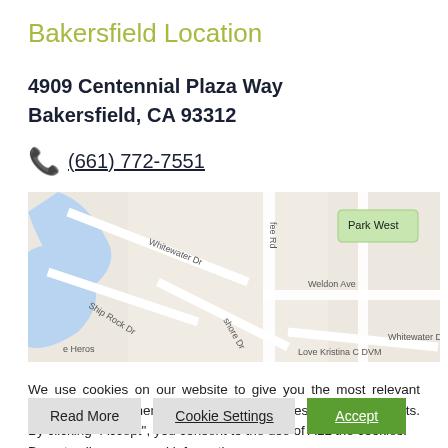Bakersfield Location
4909 Centennial Plaza Way
Bakersfield, CA 93312
(661) 772-7551
[Figure (map): Google Maps screenshot showing Bakersfield location area with streets including Whitewater Dr, Ship Rock Dr, shore Dr, fee Rd, Weldon Ave, and Park West neighborhood label. Love Kristina C DVM visible at bottom right.]
We use cookies on our website to give you the most relevant experience by remembering your preferences and repeat visits. By clicking “Accept”, you consent to the use of ALL the cookies.
Do not sell my personal information.